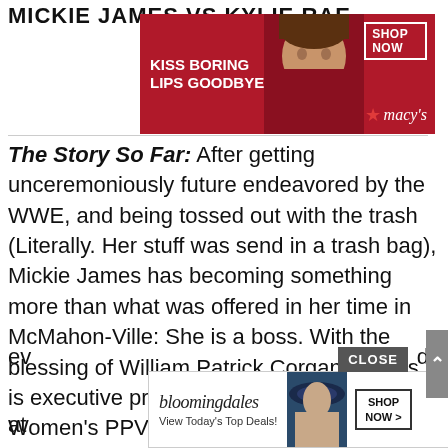MICKIE JAMES VS KYLIE RAE
[Figure (photo): Macy's advertisement banner: woman with red lips, text 'KISS BORING LIPS GOODBYE', 'SHOP NOW', Macy's star logo]
The Story So Far: After getting unceremoniously future endeavored by the WWE, and being tossed out with the trash (Literally. Her stuff was send in a trash bag), Mickie James has becoming something more than what was offered in her time in McMahon-Ville: She is a boss. With the blessing of William Patrick Corgan, James is executive producing the first ever Women's PPV for the NWA. Social media has been exploding with the talent coming through, and she's ev...ds at...
[Figure (photo): Bloomingdale's advertisement: 'View Today's Top Deals!' with woman in hat and 'SHOP NOW >' button]
[Figure (screenshot): CLOSE button overlay on bottom-right of screen]